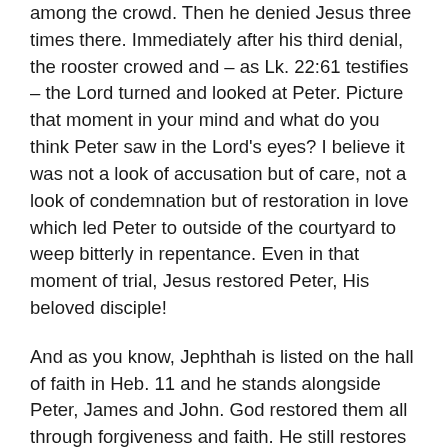among the crowd. Then he denied Jesus three times there. Immediately after his third denial, the rooster crowed and – as Lk. 22:61 testifies – the Lord turned and looked at Peter. Picture that moment in your mind and what do you think Peter saw in the Lord's eyes? I believe it was not a look of accusation but of care, not a look of condemnation but of restoration in love which led Peter to outside of the courtyard to weep bitterly in repentance. Even in that moment of trial, Jesus restored Peter, His beloved disciple!
And as you know, Jephthah is listed on the hall of faith in Heb. 11 and he stands alongside Peter, James and John. God restored them all through forgiveness and faith. He still restores many souls through the name of Jesus and, in His works of restoration and reconciliation, you and I are invited to work with and for our Lord!